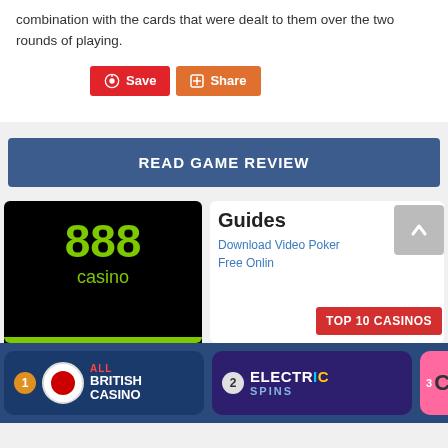combination with the cards that were dealt to them over the two rounds of playing.
[Figure (screenshot): Pinterest Save and Google+ Share social sharing buttons]
[Figure (screenshot): READ GAME REVIEW blue banner button]
[Figure (screenshot): 888 casino logo on black background]
Guides
Download Video Poker
Free Onlin...
[Figure (screenshot): TOP 10 CASINOS red banner]
[Figure (screenshot): 1 All British Casino logo card]
[Figure (screenshot): 2 Electric Spins logo card]
[Figure (screenshot): 3 partially visible casino card]